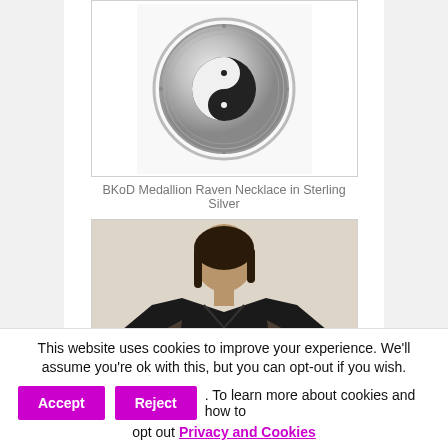[Figure (photo): BKoD Medallion Raven Necklace in Sterling Silver — circular silver medallion with yin-yang raven design]
BKoD Medallion Raven Necklace in Sterling Silver
[Figure (photo): BKoD T-shirt Raven Medallion in Color — woman wearing black t-shirt with raven medallion design]
BKoD T-shirt Raven Medallion in Color
[Figure (photo): Partially visible white hoodie product image]
This website uses cookies to improve your experience. We'll assume you're ok with this, but you can opt-out if you wish.
. To learn more about cookies and how to opt out Privacy and Cookies